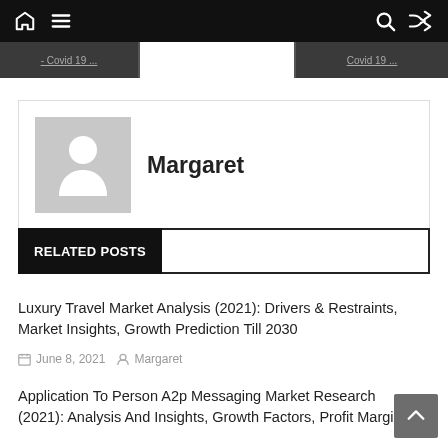Navigation bar with home, menu, search, and shuffle icons
[Figure (screenshot): Partially visible post thumbnail strip with truncated text labels on left and right sides]
Margaret
RELATED POSTS
Luxury Travel Market Analysis (2021): Drivers & Restraints, Market Insights, Growth Prediction Till 2030
June 8, 2021  Margaret
Application To Person A2p Messaging Market Research (2021): Analysis And Insights, Growth Factors, Profit Margin,